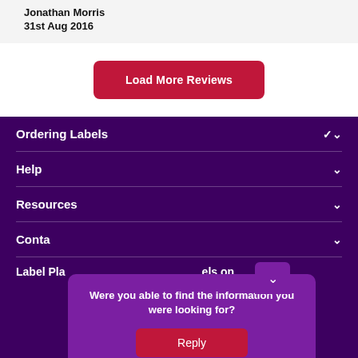Jonathan Morris
31st Aug 2016
Load More Reviews
Ordering Labels
Help
Resources
Conta…
Were you able to find the information you were looking for?
Reply
Label Pla…els on